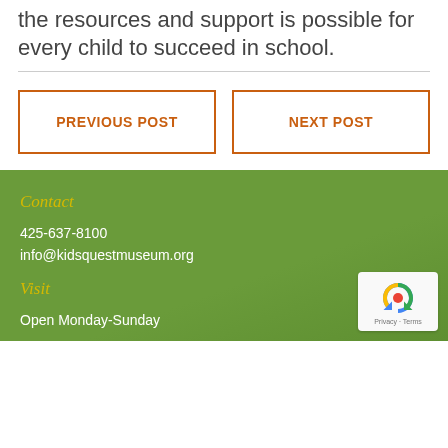the resources and support is possible for every child to succeed in school.
PREVIOUS POST
NEXT POST
Contact
425-637-8100
info@kidsquestmuseum.org
Visit
Open Monday-Sunday